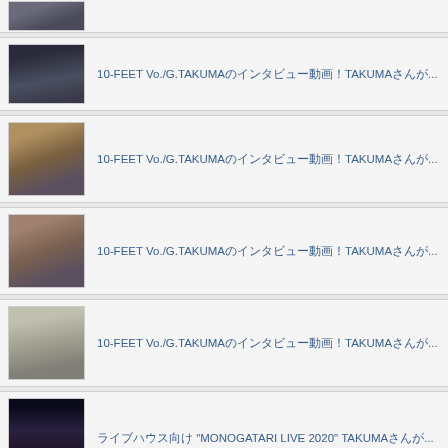(partial thumbnail row at top)
10-FEET Vo./G.TAKUMAのインタビュー動画！TAKUMAさんが...
10-FEET Vo./G.TAKUMAのインタビュー動画！TAKUMAさんが...
10-FEET Vo./G.TAKUMAのインタビュー動画！TAKUMAさんが...
10-FEET Vo./G.TAKUMAのインタビュー動画！TAKUMAさんが...
ライブハウス向け "MONOGATARI LIVE 2020" TAKUMAさんが...
10-FEET "モノガタリ" TOUR 2020-2021 公演日程 2020/10/...